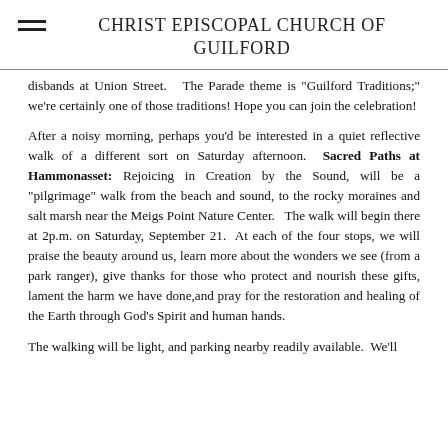CHRIST EPISCOPAL CHURCH OF GUILFORD
disbands at Union Street.  The Parade theme is "Guilford Traditions;" we're certainly one of those traditions! Hope you can join the celebration!
After a noisy morning, perhaps you'd be interested in a quiet reflective walk of a different sort on Saturday afternoon.  Sacred Paths at Hammonasset: Rejoicing in Creation by the Sound, will be a "pilgrimage" walk from the beach and sound, to the rocky moraines and salt marsh near the Meigs Point Nature Center.  The walk will begin there at 2p.m. on Saturday, September 21.  At each of the four stops, we will praise the beauty around us, learn more about the wonders we see (from a park ranger), give thanks for those who protect and nourish these gifts, lament the harm we have done, and pray for the restoration and healing of the Earth through God's Spirit and human hands.
The walking will be light, and parking nearby readily available.  We'll